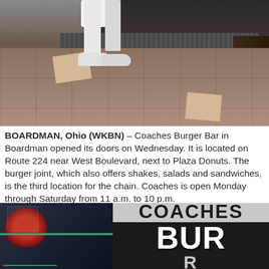[Figure (photo): Interior of Coaches Burger Bar restaurant showing tiled floor, metal-front counter, and person standing in shorts and sneakers. Two flat rectangular items visible on the floor.]
BOARDMAN, Ohio (WKBN) – Coaches Burger Bar in Boardman opened its doors on Wednesday. It is located on Route 224 near West Boulevard, next to Plaza Donuts. The burger joint, which also offers shakes, salads and sandwiches, is the third location for the chain. Coaches is open Monday through Saturday from 11 a.m. to 10 p.m.
Coaches Burger Bar to Expand in Boardman
April 19, 2016
[Figure (photo): Interior of Coaches Burger Bar showing display cases with sports equipment on left, and the Coaches Burger Bar sign in large bold text on the right, against a dark background.]